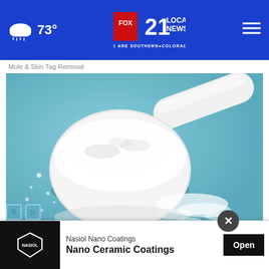73° FOX 21 LOCAL NEWS — WE ARE SOUTHERN COLORADO
Mole & Skin Tag Removal
[Figure (photo): Close-up photo of a white measuring scoop filled with white powder on a light blue background, with scattered powder around it.]
A Teaspoon on an Empty Stomach Drops Body Weight
Trending
[Figure (other): Popup advertisement for Nasiol Nano Coatings — Nano Ceramic Coatings with an Open button]